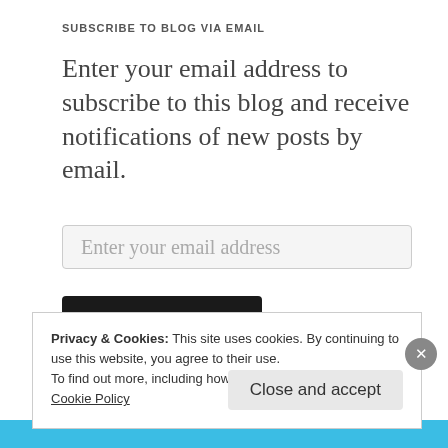SUBSCRIBE TO BLOG VIA EMAIL
Enter your email address to subscribe to this blog and receive notifications of new posts by email.
Enter your email address
Subscribe
Join 2,858 other followers
Privacy & Cookies: This site uses cookies. By continuing to use this website, you agree to their use.
To find out more, including how to control cookies, see here: Cookie Policy
Close and accept